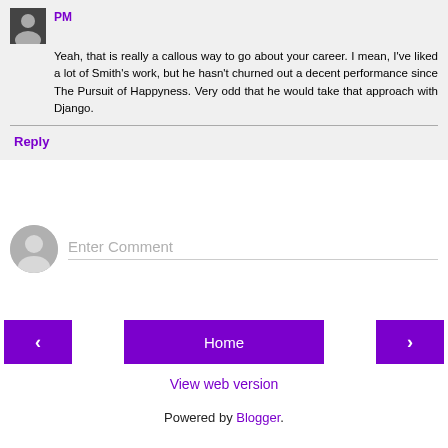PM
Yeah, that is really a callous way to go about your career. I mean, I've liked a lot of Smith's work, but he hasn't churned out a decent performance since The Pursuit of Happyness. Very odd that he would take that approach with Django.
Reply
Enter Comment
Home
View web version
Powered by Blogger.